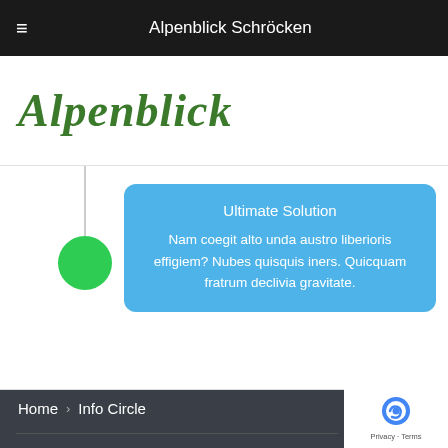Alpenblick Schröcken
[Figure (logo): Alpenblick cursive green logo text]
Ultimate Solution
Nam coegit alto unda austro liberioris effigiem? Nubes quisquis iners. Quicquam fratrum declivia gravitate.
Home > Info Circle
[Figure (other): reCAPTCHA badge with Privacy and Terms links]